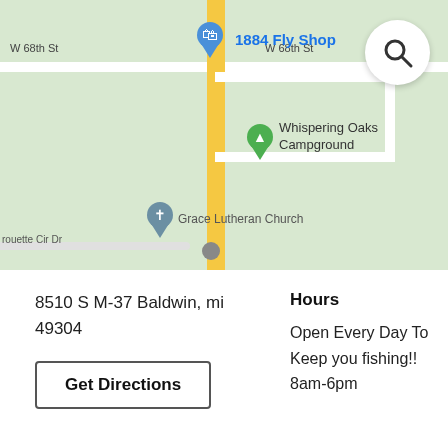[Figure (map): Google Maps screenshot showing 1884 Fly Shop location on S M-37 in Baldwin, MI. Map shows W 68th St road, a vertical yellow road, Whispering Oaks Campground pin in green, Grace Lutheran Church pin in gray, and a search icon circle in top right. Street label 'rouette Cir Dr' visible at bottom left.]
8510 S M-37 Baldwin, mi 49304
Get Directions
Hours
Open Every Day To Keep you fishing!! 8am-6pm